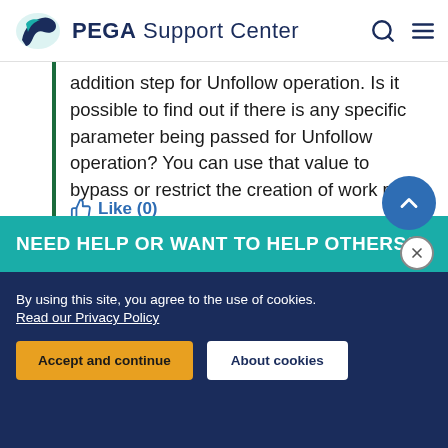PEGA Support Center
addition step for Unfollow operation. Is it possible to find out if there is any specific parameter being passed for Unfollow operation? You can use that value to bypass or restrict the creation of work party.
Like (0)
NEED HELP OR WANT TO HELP OTHERS?
By using this site, you agree to the use of cookies. Read our Privacy Policy
Accept and continue   About cookies